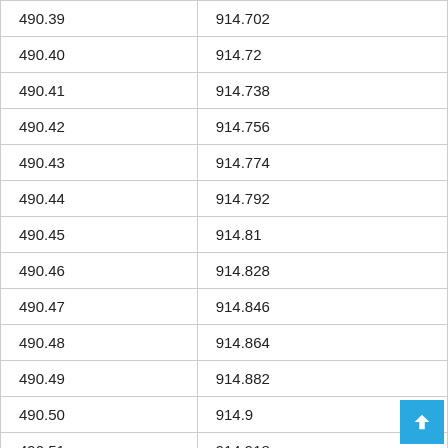| 490.39 | 914.702 |
| 490.40 | 914.72 |
| 490.41 | 914.738 |
| 490.42 | 914.756 |
| 490.43 | 914.774 |
| 490.44 | 914.792 |
| 490.45 | 914.81 |
| 490.46 | 914.828 |
| 490.47 | 914.846 |
| 490.48 | 914.864 |
| 490.49 | 914.882 |
| 490.50 | 914.9 |
| 490.51 | 914.918 |
| 490.52 | 914.936 |
| 490.53 | 914.954 |